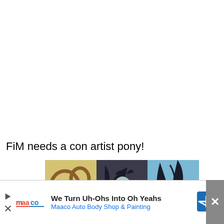FiM needs a con artist pony!
[Figure (illustration): Animated cartoon pony characters in panels with yellow, dark/grey, and blue backgrounds]
[Figure (screenshot): Advertisement banner: We Turn Uh-Ohs Into Oh Yeahs - Maaco Auto Body Shop & Painting, with play button, Maaco logo, and blue directional arrow sign. Close button (X) on the right.]